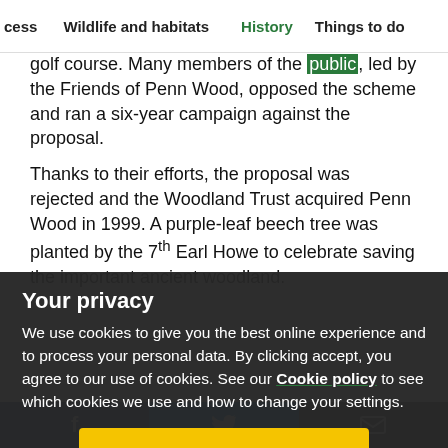cess  Wildlife and habitats  History  Things to do
golf course. Many members of the public, led by the Friends of Penn Wood, opposed the scheme and ran a six-year campaign against the proposal.
Thanks to their efforts, the proposal was rejected and the Woodland Trust acquired Penn Wood in 1999. A purple-leaf beech tree was planted by the 7th Earl Howe to celebrate [saving the important ancient woodland.]
Archaeology
The wood contains many banks and ditches, some of which may have marked the boundaries of different owners or acted as a means to keep animals away from young trees for woodland management. There is a large woodbank surrounding the wood, which is a typical feature of
Your privacy
We use cookies to give you the best online experience and to process your personal data. By clicking accept, you agree to our use of cookies. See our Cookie policy to see which cookies we use and how to change your settings.
Accept